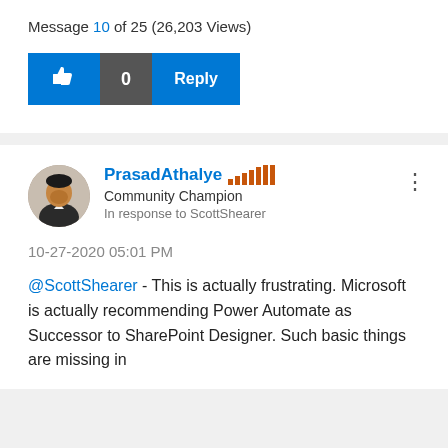Message 10 of 25 (26,203 Views)
[Figure (screenshot): Like button (blue thumbs up icon), like count showing 0 (dark gray), and blue Reply button]
[Figure (photo): Avatar of PrasadAthalye — a man in a dark suit]
PrasadAthalye Community Champion In response to ScottShearer
10-27-2020 05:01 PM
@ScottShearer - This is actually frustrating. Microsoft is actually recommending Power Automate as Successor to SharePoint Designer. Such basic things are missing in